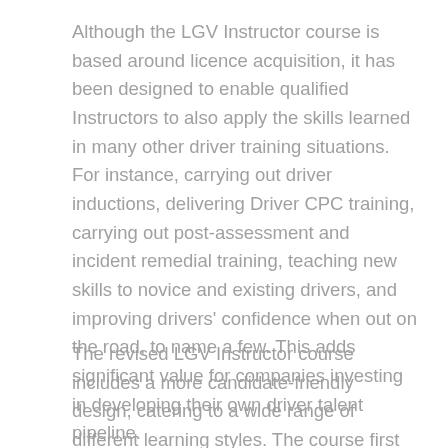Although the LGV Instructor course is based around licence acquisition, it has been designed to enable qualified Instructors to also apply the skills learned in many other driver training situations. For instance, carrying out driver inductions, delivering Driver CPC training, carrying out post-assessment and incident remedial training, teaching new skills to novice and existing drivers, and improving drivers' confidence when out on the road, to name a few. This adds significant value for companies investing in developing their own driver talent pipeline.
The revised LGV Instructor course includes a more candidate-friendly design, catering to a wide range of different learning styles. The course first provides candidates with the necessary theory, then